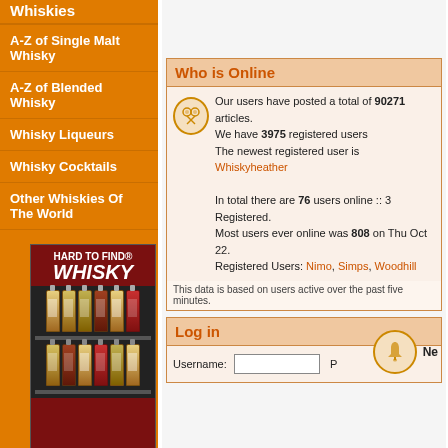Whiskies
A-Z of Single Malt Whisky
A-Z of Blended Whisky
Whisky Liqueurs
Whisky Cocktails
Other Whiskies Of The World
[Figure (photo): Hard To Find Whisky advertisement showing bottles on shelves]
Who is Online
Our users have posted a total of 90271 articles. We have 3975 registered users. The newest registered user is Whiskyheather. In total there are 76 users online :: 3 Registered. Most users ever online was 808 on Thu Oct 22. Registered Users: Nimo, Simps, Woodhill
This data is based on users active over the past five minutes
Log in
Username: